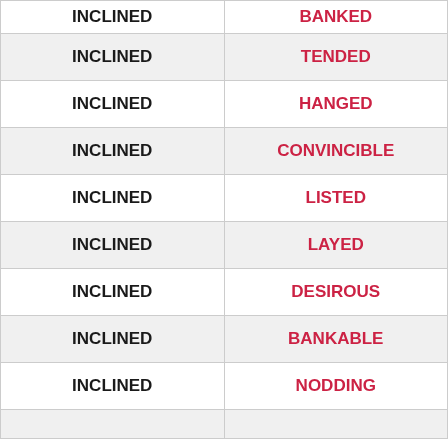| INCLINED | BANKED |
| INCLINED | TENDED |
| INCLINED | HANGED |
| INCLINED | CONVINCIBLE |
| INCLINED | LISTED |
| INCLINED | LAYED |
| INCLINED | DESIROUS |
| INCLINED | BANKABLE |
| INCLINED | NODDING |
| INCLINED |  |